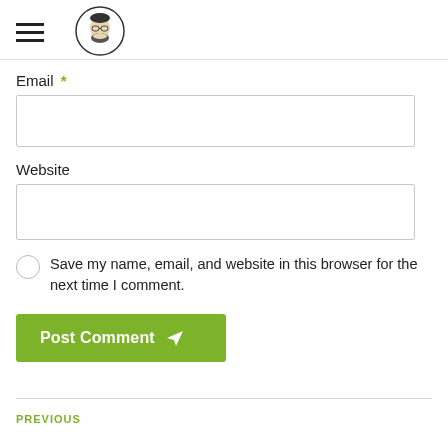[hamburger menu icon] [avatar logo]
Email *
[Email input field]
Website
[Website input field]
Save my name, email, and website in this browser for the next time I comment.
Post Comment
PREVIOUS